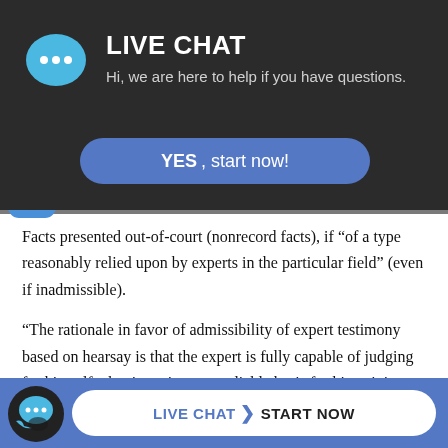[Figure (screenshot): Live chat popup header with dark background, chat bubble icon, LIVE CHAT title, subtitle 'Hi, we are here to help if you have questions.', and a blue 'YES, start now!' button]
Facts presented out-of-court (nonrecord facts), if “of a type reasonably relied upon by experts in the particular field” (even if inadmissible).
“The rationale in favor of admissibility of expert testimony based on hearsay is that the expert is fully capable of judging for himself what is, or is not, a reliable basis for his opinion. This relates directly to one of the functions of the expert witness, namely to lend his special expertise to the issue before h...
[Figure (screenshot): Bottom live chat bar with chat icon and 'LIVE CHAT > START NOW' button on blue background]